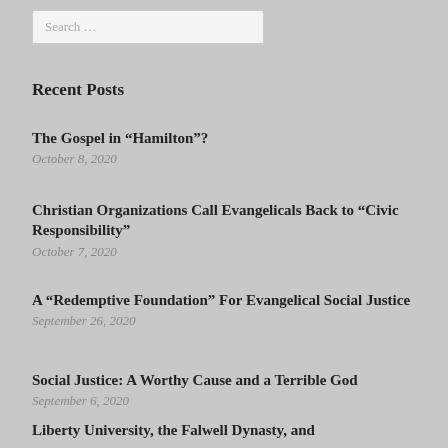Search …
Recent Posts
The Gospel in “Hamilton”?
October 8, 2020
Christian Organizations Call Evangelicals Back to “Civic Responsibility”
October 7, 2020
A “Redemptive Foundation” For Evangelical Social Justice
September 26, 2020
Social Justice: A Worthy Cause and a Terrible God
September 6, 2020
Liberty University, the Falwell Dynasty, and